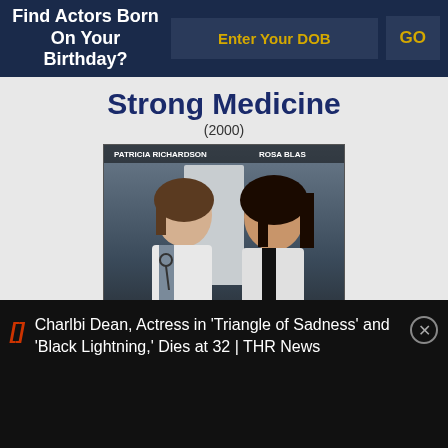Find Actors Born On Your Birthday?
Enter Your DOB
GO
Strong Medicine
(2000)
[Figure (photo): Movie poster for Strong Medicine (2000) showing two female doctors in white coats, PATRICIA RICHARDSON and ROSA BLASI, with tagline 'Hope in every heartbeat.' and the word STRONG at the bottom in red letters]
Charlbi Dean, Actress in 'Triangle of Sadness' and 'Black Lightning,' Dies at 32 | THR News